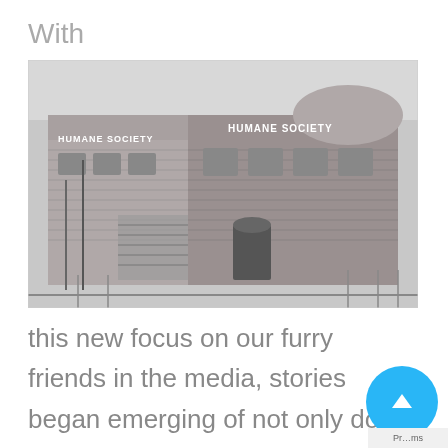With
[Figure (photo): Black and white historical photograph of a brick building with 'HUMANE SOCIETY' written across the facade in two places, showing a two-story building with arched windows, an external staircase, and architectural details typical of early 20th century institutional buildings.]
this new focus on our furry friends in the media, stories began emerging of not only dog vandals, but dog heroes too. A brave deed in Montana